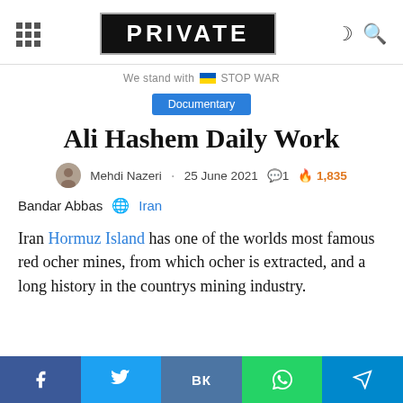PRIVATE
We stand with 🇺🇦 STOP WAR
Documentary
Ali Hashem Daily Work
Mehdi Nazeri · 25 June 2021 💬1 🔥1,835
Bandar Abbas 🌐 Iran
Iran Hormuz Island has one of the worlds most famous red ocher mines, from which ocher is extracted, and a long history in the countrys mining industry.